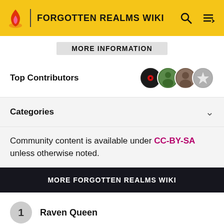FORGOTTEN REALMS WIKI
MORE INFORMATION
Top Contributors
Categories
Community content is available under CC-BY-SA unless otherwise noted.
MORE FORGOTTEN REALMS WIKI
1 Raven Queen
2 Mind flayer